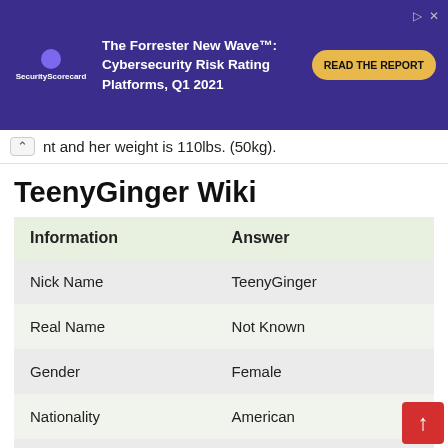[Figure (screenshot): SecurityScorecard advertisement banner: 'The Forrester New Wave™: Cybersecurity Risk Rating Platforms, Q1 2021' with a 'READ THE REPORT' button on dark purple background]
nt and her weight is 110lbs. (50kg).
TeenyGinger Wiki
| Information | Answer |
| --- | --- |
| Nick Name | TeenyGinger |
| Real Name | Not Known |
| Gender | Female |
| Nationality | American |
| Place of Birth | United States of America |